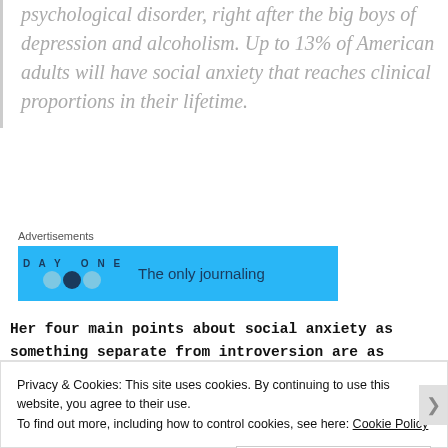psychological disorder, right after the big boys of depression and alcoholism. Up to 13% of American adults will have social anxiety that reaches clinical proportions in their lifetime.
Advertisements
[Figure (screenshot): Blue advertisement banner for 'DAY ONE' journaling app with circular icons and text 'The only journaling']
Her four main points about social anxiety as something separate from introversion are as follows (though I
Privacy & Cookies: This site uses cookies. By continuing to use this website, you agree to their use.
To find out more, including how to control cookies, see here: Cookie Policy
Close and accept